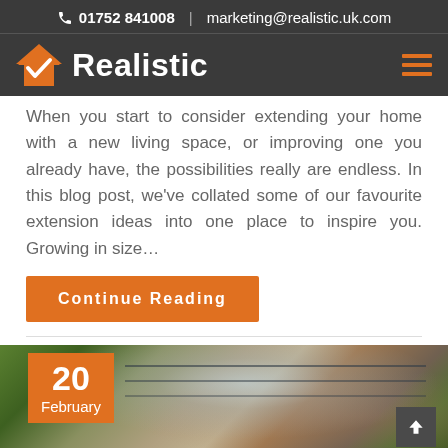01752 841008  |  marketing@realistic.uk.com
[Figure (logo): Realistic logo with orange house/checkmark icon and white 'Realistic' text on dark background, with orange hamburger menu icon on right]
When you start to consider extending your home with a new living space, or improving one you already have, the possibilities really are endless. In this blog post, we've collated some of our favourite extension ideas into one place to inspire you. Growing in size…
Continue Reading
[Figure (photo): Photo of a house extension with flat roof and large glazed panels/skylights, brick exterior. Orange date badge showing '20 February' overlaid on bottom-left of photo.]